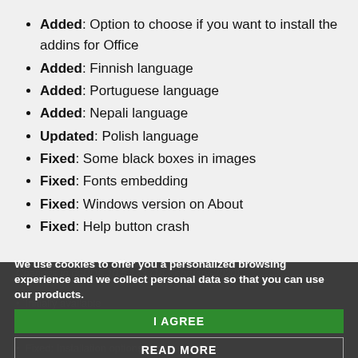Added: Option to choose if you want to install the addins for Office
Added: Finnish language
Added: Portuguese language
Added: Nepali language
Updated: Polish language
Fixed: Some black boxes in images
Fixed: Fonts embedding
Fixed: Windows version on About
Fixed: Help button crash
We use cookies to offer you a personalized browsing experience and we collect personal data so that you can use our products.
I AGREE
READ MORE